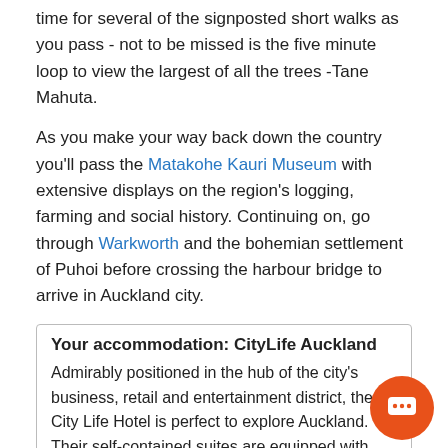time for several of the signposted short walks as you pass - not to be missed is the five minute loop to view the largest of all the trees -Tane Mahuta.
As you make your way back down the country you'll pass the Matakohe Kauri Museum with extensive displays on the region's logging, farming and social history. Continuing on, go through Warkworth and the bohemian settlement of Puhoi before crossing the harbour bridge to arrive in Auckland city.
Your accommodation: CityLife Auckland
Admirably positioned in the hub of the city's business, retail and entertainment district, the City Life Hotel is perfect to explore Auckland. Their self-contained suites are equipped with everything you will need to enjoy your stay.
More Information
Driving distance and time (approximate) for this leg:
/ 213 miles : 4.4 hours